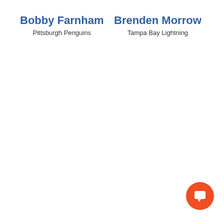Bobby Farnham
Pittsburgh Penguins
Brenden Morrow
Tampa Bay Lightning
[Figure (illustration): Orange circular button with a white chat/comment icon in the bottom-right corner of the page]